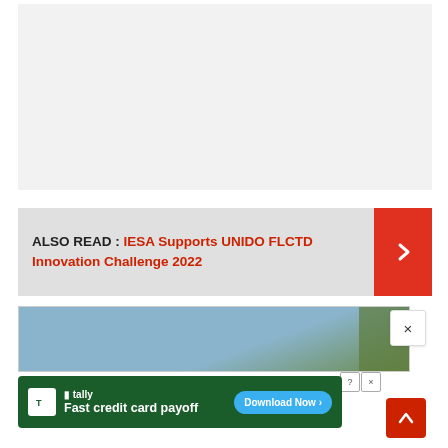[Figure (other): Gray placeholder box at top of page]
ALSO READ : IESA Supports UNIDO FLCTD Innovation Challenge 2022
[Figure (photo): Partial photo strip showing sky and foliage]
[Figure (screenshot): Advertisement banner: tally - Fast credit card payoff - Download Now button]
[Figure (other): Scroll to top red button with upward arrow]